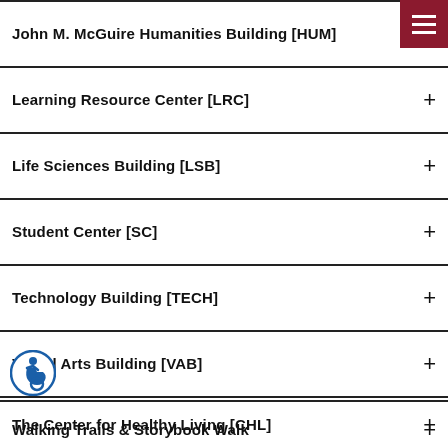John M. McGuire Humanities Building [HUM]
Learning Resource Center [LRC]
Life Sciences Building [LSB]
Student Center [SC]
Technology Building [TECH]
Visual Arts Building [VAB]
Walking Trails & Storybook Walk
Dardenne Creek Campus
Located at 1 Academy Place, Dardenne Prairie, Mo.
Find Us On Google Maps
The Center for Healthy Living [CHL]